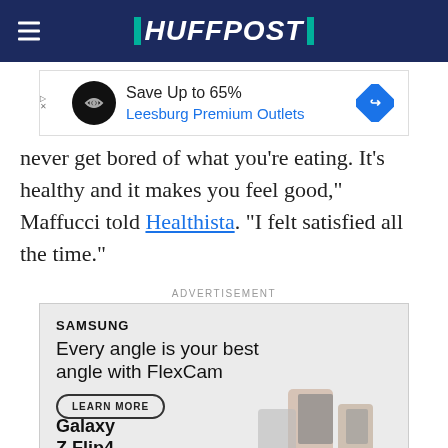HUFFPOST
[Figure (screenshot): Leesburg Premium Outlets advertisement banner: Save Up to 65%, with black circle logo and blue diamond icon]
never get bored of what you're eating. It's healthy and it makes you feel good," Maffucci told Healthista. "I felt satisfied all the time."
ADVERTISEMENT
[Figure (screenshot): Samsung advertisement: SAMSUNG logo, 'Every angle is your best angle with FlexCam', LEARN MORE button, Galaxy Z Flip4 product image]